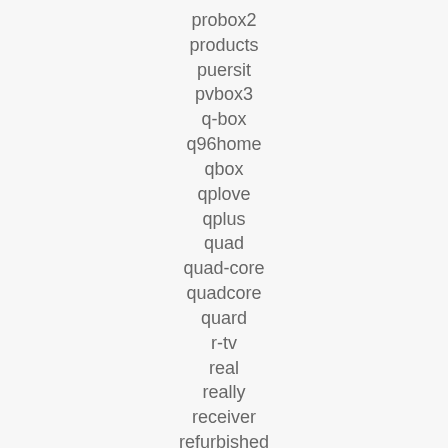probox2
products
puersit
pvbox3
q-box
q96home
qbox
qplove
qplus
quad
quad-core
quadcore
quard
r-tv
real
really
receiver
refurbished
relaased
reset
review